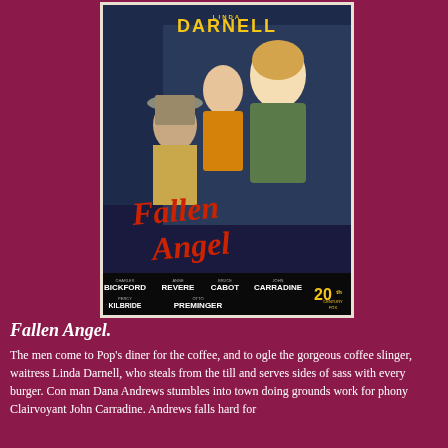[Figure (photo): Movie poster for 'Fallen Angel' (1945) featuring Linda Darnell, with Charles Bickford, Anne Revere, Bruce Cabot, John Carradine, Percy Kilbride, directed by Otto Preminger, 20th Century Fox]
Fallen Angel.
The men come to Pop's diner for the coffee, and to ogle the gorgeous coffee slinger, waitress Linda Darnell, who steals from the till and serves sides of sass with every burger. Con man Dana Andrews stumbles into town doing grounds work for phony Clairvoyant John Carradine. Andrews falls hard for